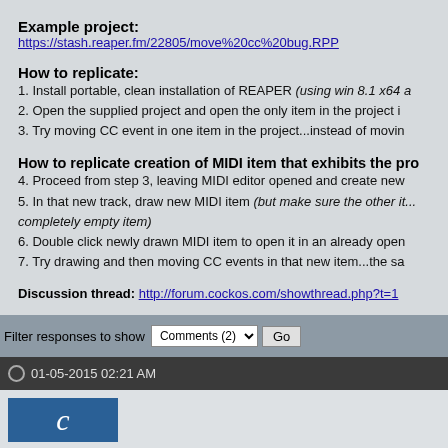Example project:
https://stash.reaper.fm/22805/move%20cc%20bug.RPP
How to replicate:
1. Install portable, clean installation of REAPER (using win 8.1 x64 a...
2. Open the supplied project and open the only item in the project i...
3. Try moving CC event in one item in the project...instead of movin...
How to replicate creation of MIDI item that exhibits the pro...
4. Proceed from step 3, leaving MIDI editor opened and create new...
5. In that new track, draw new MIDI item (but make sure the other it... completely empty item)
6. Double click newly drawn MIDI item to open it in an already open...
7. Try drawing and then moving CC events in that new item...the sa...
Discussion thread: http://forum.cockos.com/showthread.php?t=1...
Filter responses to show Comments (2) Go
01-05-2015 02:21 AM